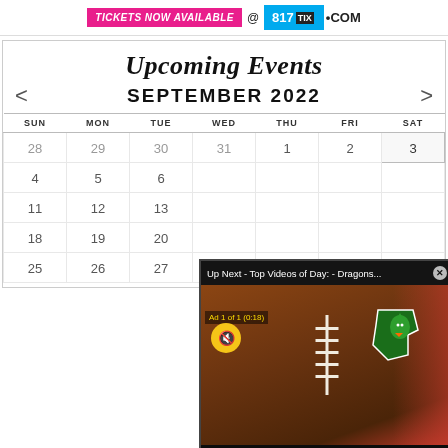[Figure (infographic): Tickets Now Available banner ad: pink badge with 'TICKETS NOW AVAILABLE', @ symbol, blue 817TIX.COM badge]
Upcoming Events
SEPTEMBER 2022
| SUN | MON | TUE | WED | THU | FRI | SAT |
| --- | --- | --- | --- | --- | --- | --- |
| 28 | 29 | 30 | 31 | 1 | 2 | 3 |
| 4 | 5 | 6 |  |  |  |  |
| 11 | 12 | 13 |  |  |  |  |
| 18 | 19 | 20 |  |  |  |  |
| 25 | 26 | 27 |  |  |  |  |
[Figure (screenshot): Video overlay popup: 'Up Next - Top Videos of Day: - Dragons...' with close button, Ad 1 of 1 (0:18) label, mute button, football image with dragon logo, 'DRAGONS VS. MARAUDERS TICKETS ARE LIVE' text, TEAM ISSUE branding]